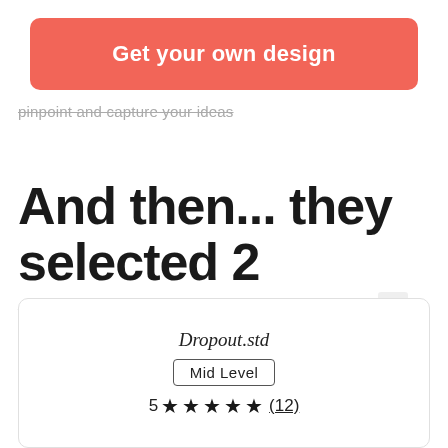Get your own design
pinpoint and capture your ideas
And then... they selected 2 winners!
Dropout.std
Mid Level
5 ★★★★★ (12)